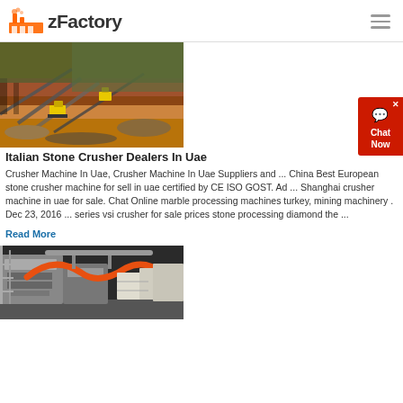zFactory
[Figure (photo): Aerial view of a large open-pit mining and stone crushing site with yellow excavators, conveyor belts, and heavy machinery on reddish earth]
Italian Stone Crusher Dealers In Uae
Crusher Machine In Uae, Crusher Machine In Uae Suppliers and ... China Best European stone crusher machine for sell in uae certified by CE ISO GOST. Ad ... Shanghai crusher machine in uae for sale. Chat Online marble processing machines turkey, mining machinery . Dec 23, 2016 ... series vsi crusher for sale prices stone processing diamond the ...
Read More
[Figure (photo): Industrial machinery interior showing pipes, hoses, metal frames and processing equipment in a factory setting]